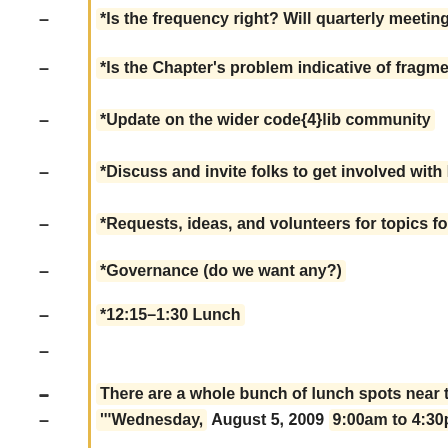*Is the frequency right? Will quarterly meetings still work
*Is the Chapter's problem indicative of fragmented genera…
*Update on the wider code{4}lib community
*Discuss and invite folks to get involved with Library Lab…
*Requests, ideas, and volunteers for topics for future gath…
*Governance (do we want any?)
*12:15–1:30 Lunch
There are a whole bunch of lunch spots near the Library.
'Wednesday, August 5, 2009 9:00am to 4:30pm at [http://na…
This meeting will be a joint meeting between code{4}libMD…